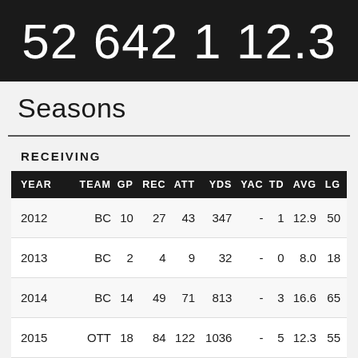52  642  1  12.3
Seasons
RECEIVING
| YEAR | TEAM | GP | REC | ATT | YDS | YAC | TD | AVG | LG |
| --- | --- | --- | --- | --- | --- | --- | --- | --- | --- |
| 2012 | BC | 10 | 27 | 43 | 347 | - | 1 | 12.9 | 50 |
| 2013 | BC | 2 | 4 | 9 | 32 | - | 0 | 8.0 | 18 |
| 2014 | BC | 14 | 49 | 71 | 813 | - | 3 | 16.6 | 65 |
| 2015 | OTT | 18 | 84 | 122 | 1036 | - | 5 | 12.3 | 55 |